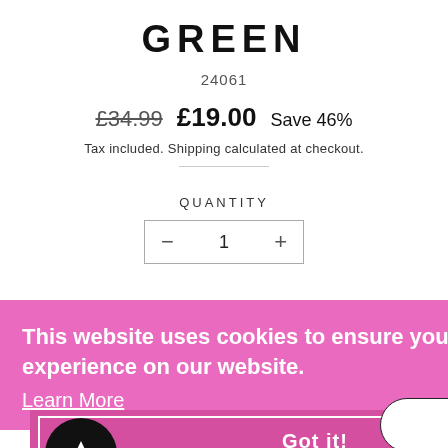GREEN
24061
£34.99  £19.00  Save 46%
Tax included. Shipping calculated at checkout.
QUANTITY
- 1 +
This website uses cookies to ensure you get the best experience on our website. Learn More
NOTIFY ME WHEN BACK IN STOCK
Got it!
Electric Lime Green Cheetah detail top